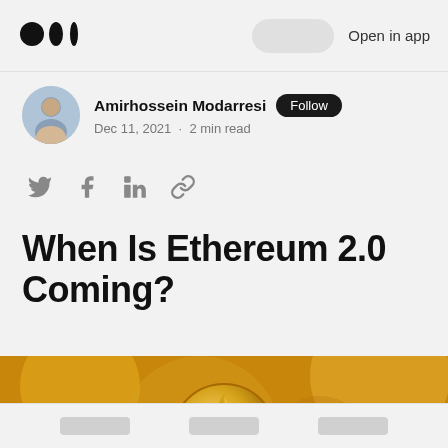Medium logo · Open in app
Amirhossein Modarresi Follow
Dec 11, 2021 · 2 min read
[Figure (illustration): Social share icons: Twitter, Facebook, LinkedIn, link]
When Is Ethereum 2.0 Coming?
[Figure (photo): Golden Ethereum coin on blurred golden background]